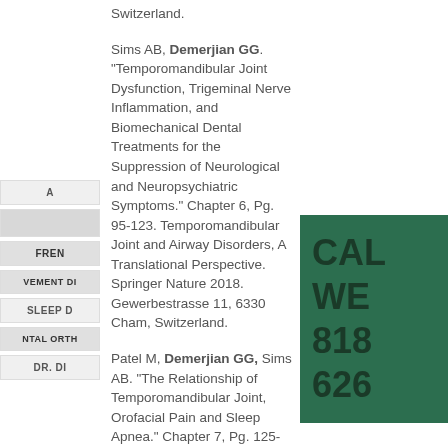Switzerland.
Sims AB, Demerjian GG. "Temporomandibular Joint Dysfunction, Trigeminal Nerve Inflammation, and Biomechanical Dental Treatments for the Suppression of Neurological and Neuropsychiatric Symptoms." Chapter 6, Pg. 95-123. Temporomandibular Joint and Airway Disorders, A Translational Perspective. Springer Nature 2018. Gewerbestrasse 11, 6330 Cham, Switzerland.
Patel M, Demerjian GG, Sims AB. "The Relationship of Temporomandibular Joint, Orofacial Pain and Sleep Apnea." Chapter 7, Pg. 125-134. Temporomandibular Joint and Airway Disorders, A Translational Perspective. Springer Nature 2018. Gewerbestrasse 11, 6330 Cham, Switzerland.
Demerjian GG, Pooja Goel. "Immunologic and Physiologic Effects of Dental Sleep Appliance Therapy." Chapter 8, Pg. 135-171. Temporomandibular Joint and Airway Disorders, A Translational Perspective. Springer Nature 2018. Gewerbestrasse 11, 6330 Cham, Switzerland.
A
FREN
VEMENT DI
SLEEP D
NTAL ORTH
DR. DI
CAL WE 818 626